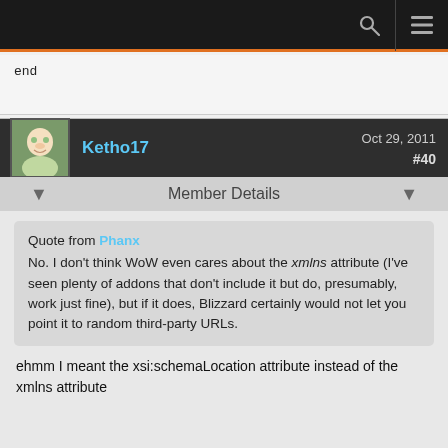end
Ketho17   Oct 29, 2011   #40
Member Details
Quote from Phanx
No. I don't think WoW even cares about the xmlns attribute (I've seen plenty of addons that don't include it but do, presumably, work just fine), but if it does, Blizzard certainly would not let you point it to random third-party URLs.
ehmm I meant the xsi:schemaLocation attribute instead of the xmlns attribute